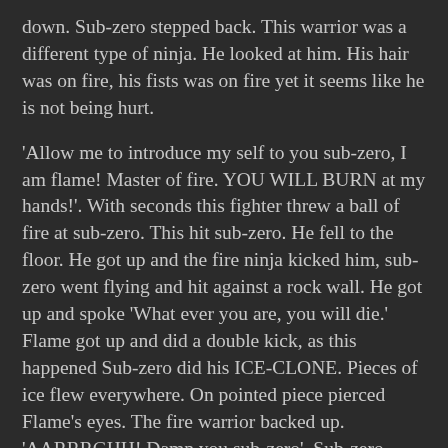down. Sub-zero stepped back. This warrior was a different type of ninja. He looked at him. His hair was on fire, his fists was on fire yet it seems like he is not being hurt.
'Allow me to introduce my self to you sub-zero, I am flame! Master of fire. YOU WILL BURN at my hands!'. With seconds this fighter threw a ball of fire at sub-zero. This hit sub-zero. He fell to the floor. He got up and the fire ninja kicked him, sub-zero went flying and hit against a rock wall. He got up and spoke 'What ever you are, you will die.' Flame got up and did a double kick, as this happened Sub-zero did his ICE-CLONE. Pieces of ice flew everywhere. On pointed piece pierced Flame's eyes. The fire warrior backed up. 'AARRRGHH! Damn you sub-zero'. Sub-zero stood back and moved his arms around the air whilst flame was shouting his head off. 'Eat this Flame', Sub-zero